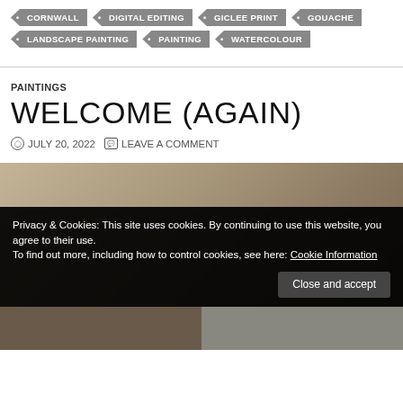CORNWALL
DIGITAL EDITING
GICLEE PRINT
GOUACHE
LANDSCAPE PAINTING
PAINTING
WATERCOLOUR
PAINTINGS
WELCOME (AGAIN)
JULY 20, 2022   LEAVE A COMMENT
[Figure (photo): Photograph partially visible behind cookie consent banner, showing a person in an art studio or gallery setting]
Privacy & Cookies: This site uses cookies. By continuing to use this website, you agree to their use.
To find out more, including how to control cookies, see here: Cookie Information
Close and accept